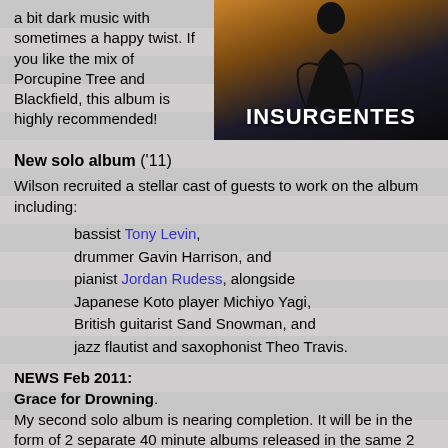a bit dark music with sometimes a happy twist. If you like the mix of Porcupine Tree and Blackfield, this album is highly recommended!
[Figure (photo): Album cover showing a silhouetted figure against an amber/dark background with the word INSURGENTES in white bold text at the bottom]
New solo album ('11)
Wilson recruited a stellar cast of guests to work on the album including:
bassist Tony Levin, drummer Gavin Harrison, and pianist Jordan Rudess, alongside Japanese Koto player Michiyo Yagi, British guitarist Sand Snowman, and jazz flautist and saxophonist Theo Travis.
NEWS Feb 2011:
Grace for Drowning.
My second solo album is nearing completion. It will be in the form of 2 separate 40 minute albums released in the same 2 CD set, and will also come as a blu-ray with surround mix, high definition stereo and a lot of